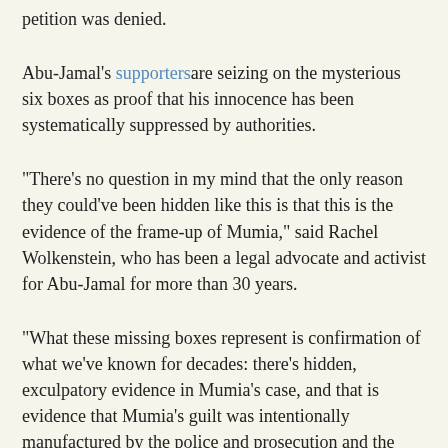petition was denied.
Abu-Jamal's supporters are seizing on the mysterious six boxes as proof that his innocence has been systematically suppressed by authorities.
"There's no question in my mind that the only reason they could've been hidden like this is that this is the evidence of the frame-up of Mumia," said Rachel Wolkenstein, who has been a legal advocate and activist for Abu-Jamal for more than 30 years.
"What these missing boxes represent is confirmation of what we've known for decades: there's hidden, exculpatory evidence in Mumia's case, and that is evidence that Mumia's guilt was intentionally manufactured by the police and prosecution and the truth of his innocence was suppressed," Wolkenstein said.